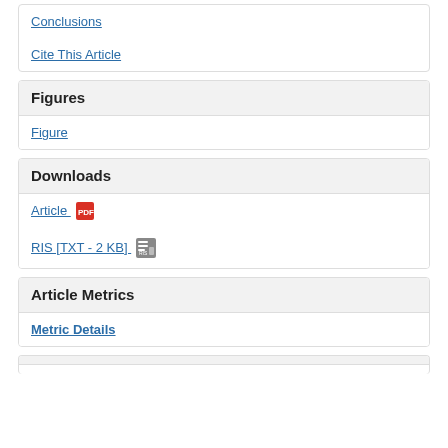Conclusions
Cite This Article
Figures
Figure
Downloads
Article
RIS [TXT - 2 KB]
Article Metrics
Metric Details